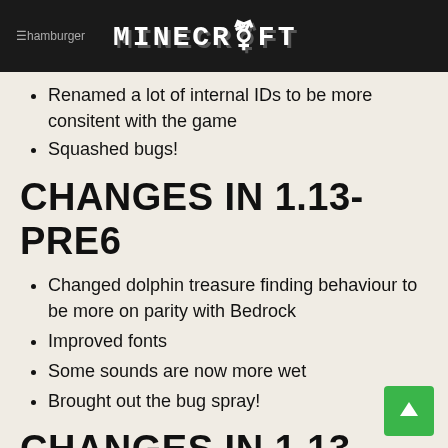hamburger MINECRAFT
Renamed a lot of internal IDs to be more consitent with the game
Squashed bugs!
CHANGES IN 1.13-PRE6
Changed dolphin treasure finding behaviour to be more on parity with Bedrock
Improved fonts
Some sounds are now more wet
Brought out the bug spray!
CHANGES IN 1.13-PRE7